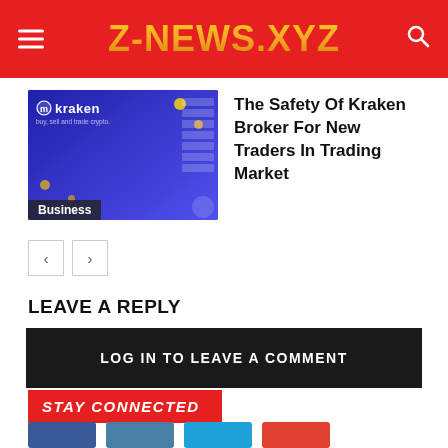Z-NEWS.XYZ
[Figure (screenshot): Kraken cryptocurrency broker website screenshot with purple background and floating coins, Business category badge at bottom left]
The Safety Of Kraken Broker For New Traders In Trading Market
< >
LEAVE A REPLY
LOG IN TO LEAVE A COMMENT
STAY CONNECTED
[Figure (infographic): Social media buttons: Facebook, Twitter, YouTube, Google Plus]